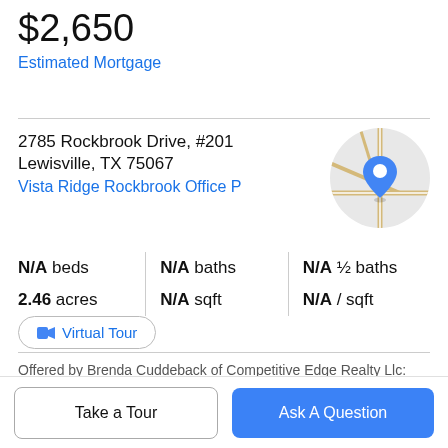$2,650
Estimated Mortgage
2785 Rockbrook Drive, #201
Lewisville, TX 75067
Vista Ridge Rockbrook Office P
[Figure (map): Circular map thumbnail showing street map with a blue location pin marker]
N/A beds | N/A baths | N/A ½ baths
2.46 acres | N/A sqft | N/A / sqft
Virtual Tour
Offered by Brenda Cuddeback of Competitive Edge Realty Llc: Two.
Take a Tour
Ask A Question